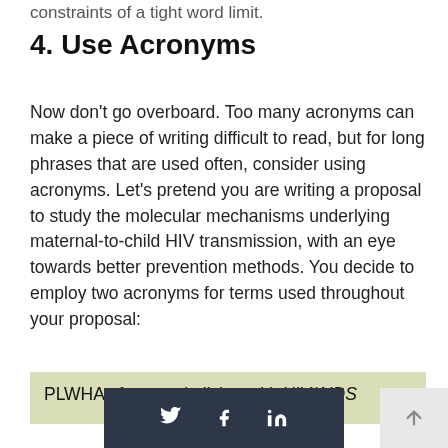constraints of a tight word limit.
4. Use Acronyms
Now don't go overboard. Too many acronyms can make a piece of writing difficult to read, but for long phrases that are used often, consider using acronyms. Let's pretend you are writing a proposal to study the molecular mechanisms underlying maternal-to-child HIV transmission, with an eye towards better prevention methods. You decide to employ two acronyms for terms used throughout your proposal:
PLWHAs for people living with HIV/AIDS
[Figure (other): Social media sharing bar with Twitter, Facebook, and LinkedIn icons on dark background, and a scroll-to-top button]